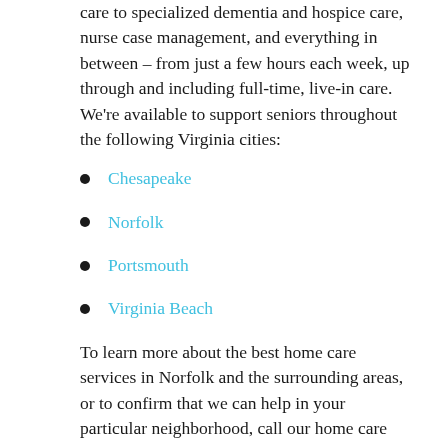care to specialized dementia and hospice care, nurse case management, and everything in between – from just a few hours each week, up through and including full-time, live-in care. We're available to support seniors throughout the following Virginia cities:
Chesapeake
Norfolk
Portsmouth
Virginia Beach
To learn more about the best home care services in Norfolk and the surrounding areas, or to confirm that we can help in your particular neighborhood, call our home care experts at 757-640-0557 any time. We're always on hand to answer any questions you may have, to offer you some helpful resources specific to the challenges you're facing, and to schedule a